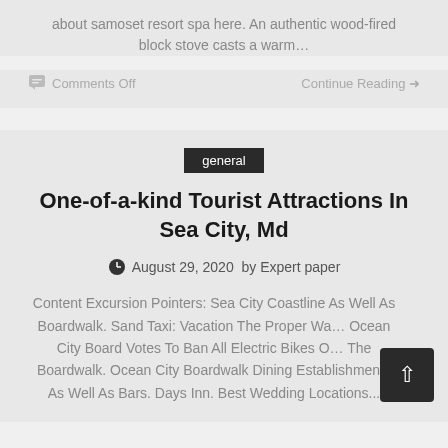about samoset resort spa here. An authentic wood-fired block stove casts a warm…
Comments Off   Continue Reading →
general
One-of-a-kind Tourist Attractions In Sea City, Md
August 29, 2020  by Expert paper
Content Excursion Pointers: Sea City Coastline As Well As Boardwalk. Sand Taxi: Vacation The Proper Wa… Ocean City Board Votes To Ban All Electric Bikes O… The Boardwalk. Ocean City Boardwalk Dining Establishments As Well As Bars. Days Inn. Best Wedding Locations...